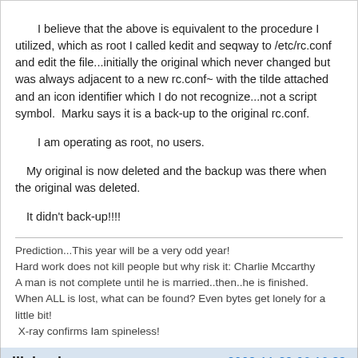I believe that the above is equivalent to the procedure I utilized, which as root I called kedit and seqway to /etc/rc.conf and edit the file...initially the original which never changed but was always adjacent to a new rc.conf~ with the tilde attached and an icon identifier which I do not recognize...not a script symbol.  Marku says it is a back-up to the original rc.conf.

I am operating as root, no users.

My original is now deleted and the backup was there when the original was deleted.
It didn't back-up!!!!
Prediction...This year will be a very odd year!
Hard work does not kill people but why risk it: Charlie Mccarthy
A man is not complete until he is married..then..he is finished.
When ALL is lost, what can be found? Even bytes get lonely for a little bit!
 X-ray confirms Iam spineless!
lilsirecho	2003-11-29 06:16:38
Rasat;

During the install of modules not in the system originally when CD installed, you have to change /etc/rc.conf in order that the modules get